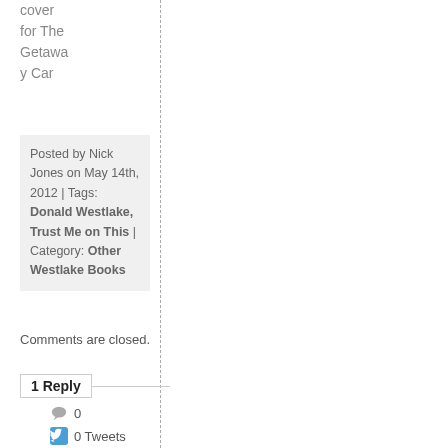cover for The Getaway Car
Posted by Nick Jones on May 14th, 2012 | Tags: Donald Westlake, Trust Me on This | Category: Other Westlake Books
Comments are closed.
1 Reply
0
0 Tweets
0
0